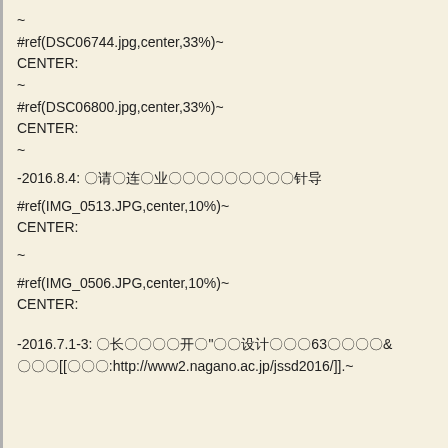~
#ref(DSC06744.jpg,center,33%)~
CENTER:
~
#ref(DSC06800.jpg,center,33%)~
CENTER:
~
-2016.8.4: 〇&#35831;〇&#36830;〇&#19994;〇〇〇〇〇〇〇〇〇&#38024;&#2354;
#ref(IMG_0513.JPG,center,10%)~
CENTER:
~
#ref(IMG_0506.JPG,center,10%)~
CENTER:
-2016.7.1-3: 〇&#38271;〇〇〇〇&#24320;〇"〇〇&#35774;&#35745;〇〇〇63〇〇〇〇〇&
〇〇〇[[〇〇〇:http://www2.nagano.ac.jp/jssd2016/]].~